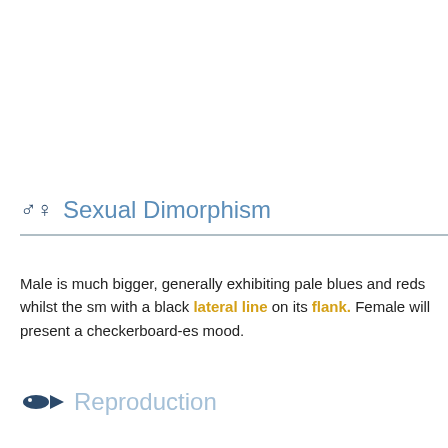♂♀ Sexual Dimorphism
Male is much bigger, generally exhibiting pale blues and reds whilst the sm with a black lateral line on its flank. Female will present a checkerboard-es mood.
Reproduction